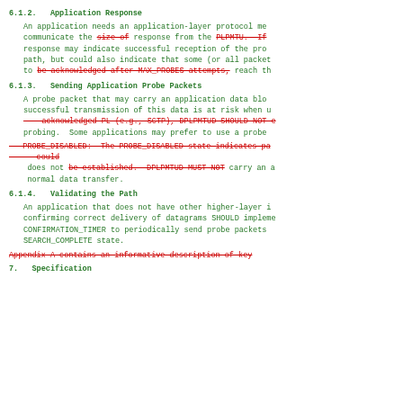6.1.2.  Application Response
An application needs an application-layer protocol me… communicate the [size of] response from the [PLPMTU. If…] response may indicate successful reception of the pro… path, but could also indicate that some (or all packet… to [be acknowledged after MAX_PROBES attempts,] reach th…
6.1.3.  Sending Application Probe Packets
A probe packet that may carry an application data blo… successful transmission of this data is at risk when u… [acknowledged PL (e.g., SCTP), DPLPMTUD SHOULD NOT e…] probing. Some applications may prefer to use a probe…
[PROBE_DISABLED: The PROBE_DISABLED state indicates pa… could] does not [be established. DPLPMTUD MUST NOT] carry an a… normal data transfer.
6.1.4.  Validating the Path
An application that does not have other higher-layer i… confirming correct delivery of datagrams SHOULD impleme… CONFIRMATION_TIMER to periodically send probe packets… SEARCH_COMPLETE state.
Appendix A contains an informative description of key…
7.  Specification